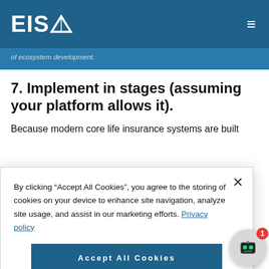EISA
of ecosystem development.
7.   Implement in stages (assuming your platform allows it).
Because modern core life insurance systems are built
By clicking “Accept All Cookies”, you agree to the storing of cookies on your device to enhance site navigation, analyze site usage, and assist in our marketing efforts. Privacy policy
Accept All Cookies
Cookies Settings